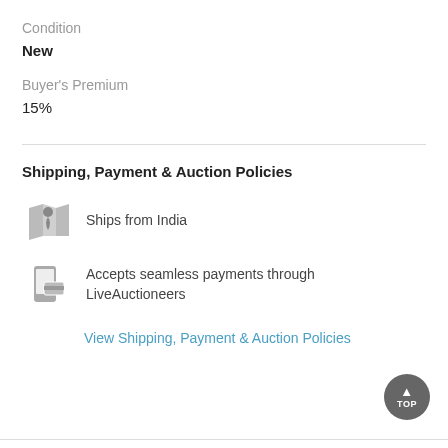Condition
New
Buyer's Premium
15%
Shipping, Payment & Auction Policies
Ships from India
Accepts seamless payments through LiveAuctioneers
View Shipping, Payment & Auction Policies